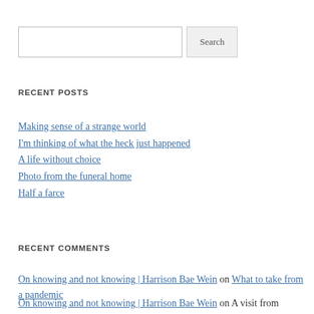[Search input and button]
RECENT POSTS
Making sense of a strange world
I'm thinking of what the heck just happened
A life without choice
Photo from the funeral home
Half a farce
RECENT COMMENTS
On knowing and not knowing | Harrison Bae Wein on What to take from a pandemic
On knowing and not knowing | Harrison Bae Wein on A visit from